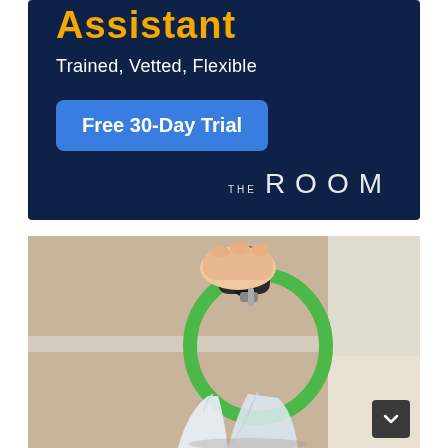[Figure (infographic): Advertisement banner with dark navy blue background. Large yellow bold text 'Assistant' at top, white subtitle 'Trained, Vetted, Flexible', blue rounded button 'Free 30-Day Trial', and 'THE ROOM' logo in white at bottom right.]
[Figure (photo): Close-up photograph of a hand holding a black carabiner clip attached to a green carabiner ring, with white plastic shopping bags hanging from the green ring. The background shows a wall baseboard and carpeted floor.]